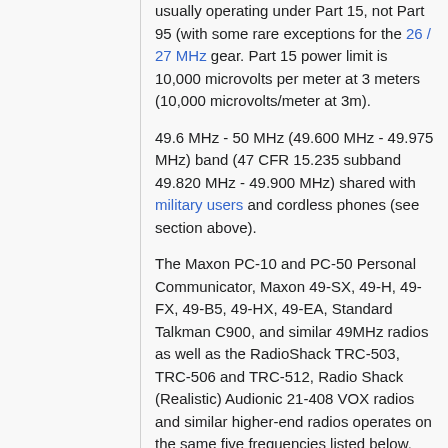usually operating under Part 15, not Part 95 (with some rare exceptions for the 26 / 27 MHz gear. Part 15 power limit is 10,000 microvolts per meter at 3 meters (10,000 microvolts/meter at 3m).
49.6 MHz - 50 MHz (49.600 MHz - 49.975 MHz) band (47 CFR 15.235 subband 49.820 MHz - 49.900 MHz) shared with military users and cordless phones (see section above).
The Maxon PC-10 and PC-50 Personal Communicator, Maxon 49-SX, 49-H, 49-FX, 49-B5, 49-HX, 49-EA, Standard Talkman C900, and similar 49MHz radios as well as the RadioShack TRC-503, TRC-506 and TRC-512, Radio Shack (Realistic) Audionic 21-408 VOX radios and similar higher-end radios operates on the same five frequencies listed below. Some radios are single-channel only (generally 49.860 MHz, see RadioShack TRC-509, TRC-502, etc.) while others allow the user to select one of the five channels.
Even current-generation new production baby monitors are available that use the 49 MHz...